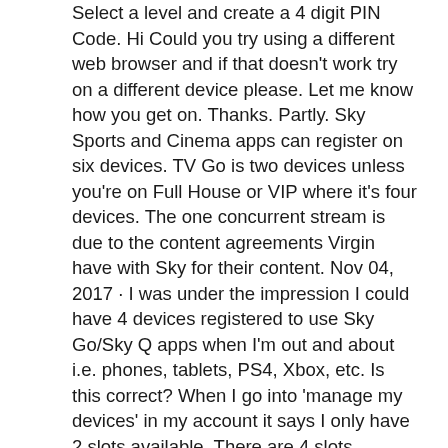Select a level and create a 4 digit PIN Code. Hi Could you try using a different web browser and if that doesn't work try on a different device please. Let me know how you get on. Thanks. Partly. Sky Sports and Cinema apps can register on six devices. TV Go is two devices unless you're on Full House or VIP where it's four devices. The one concurrent stream is due to the content agreements Virgin have with Sky for their content. Nov 04, 2017 · I was under the impression I could have 4 devices registered to use Sky Go/Sky Q apps when I'm out and about i.e. phones, tablets, PS4, Xbox, etc. Is this correct? When I go into 'manage my devices' in my account it says I only have 2 slots available. There are 4 slots showing in total but 2 of them are crossed out and say 'unavailable'. With Sky Go you can register up to two devices per household and watch on both at the same time. Your devices can be any combination of PCs, Macs, iPhones (3GS/4/4S/5), iPod touch (4th/5th Gen), iPads and selected Android devices. If you 'd like to change your registered devices you can do so once per